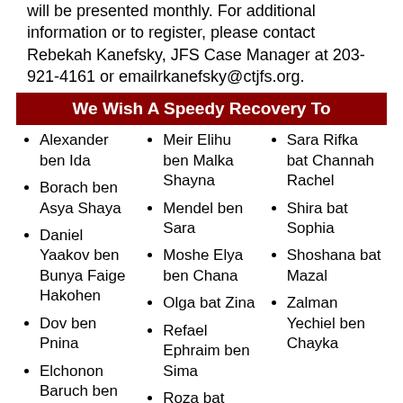will be presented monthly. For additional information or to register, please contact Rebekah Kanefsky, JFS Case Manager at 203-921-4161 or emailrkanefsky@ctjfs.org.
We Wish A Speedy Recovery To
Alexander ben Ida
Borach ben Asya Shaya
Daniel Yaakov ben Bunya Faige Hakohen
Dov ben Pnina
Elchonon Baruch ben Elka
Meir Elihu ben Malka Shayna
Mendel ben Sara
Moshe Elya ben Chana
Olga bat Zina
Refael Ephraim ben Sima
Roza bat
Sara Rifka bat Channah Rachel
Shira bat Sophia
Shoshana bat Mazal
Zalman Yechiel ben Chayka